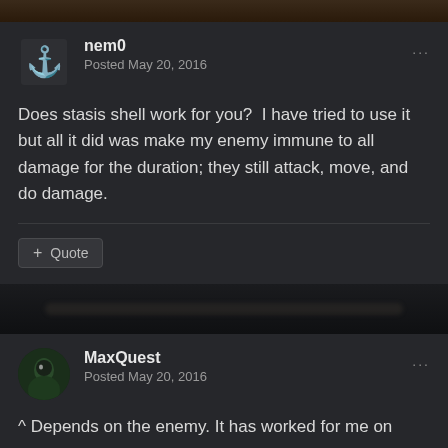nem0
Posted May 20, 2016
Does stasis shell work for you?  I have tried to use it but all it did was make my enemy immune to all damage for the duration; they still attack, move, and do damage.
+ Quote
MaxQuest
Posted May 20, 2016
^ Depends on the enemy. It has worked for me on